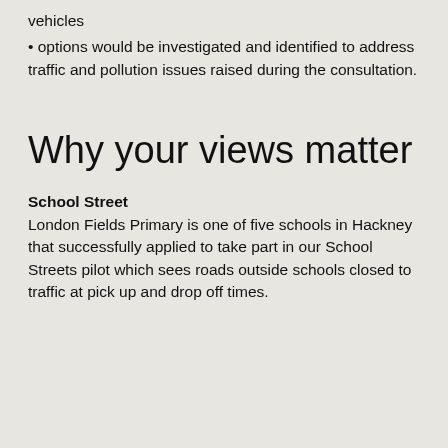vehicles
options would be investigated and identified to address traffic and pollution issues raised during the consultation.
Why your views matter
School Street
London Fields Primary is one of five schools in Hackney that successfully applied to take part in our School Streets pilot which sees roads outside schools closed to traffic at pick up and drop off times.